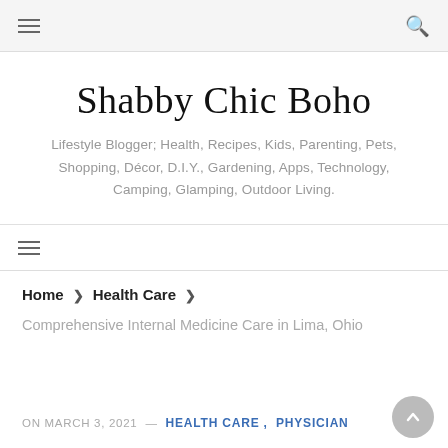≡  🔍
Shabby Chic Boho
Lifestyle Blogger; Health, Recipes, Kids, Parenting, Pets, Shopping, Décor, D.I.Y., Gardening, Apps, Technology, Camping, Glamping, Outdoor Living.
≡
Home  >  Health Care  >
Comprehensive Internal Medicine Care in Lima, Ohio
ON MARCH 3, 2021 — HEALTH CARE ,  PHYSICIAN